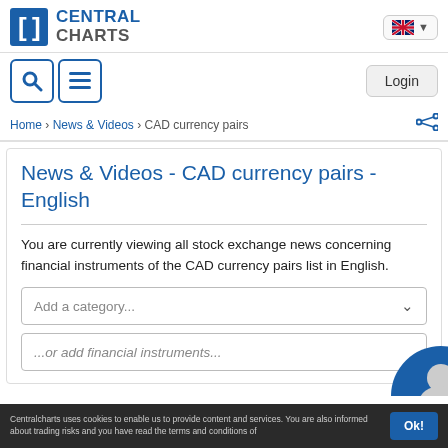[Figure (logo): Central Charts logo with bracket icon and blue/grey text]
[Figure (screenshot): UK flag language selector button]
[Figure (screenshot): Search and menu icon buttons]
Login
Home › News & Videos › CAD currency pairs
News & Videos - CAD currency pairs - English
You are currently viewing all stock exchange news concerning financial instruments of the CAD currency pairs list in English.
Add a category...
...or add financial instruments...
Centralcharts uses cookies to enable us to provide content and services. You are also informed about trading risks and you have read the terms and conditions of